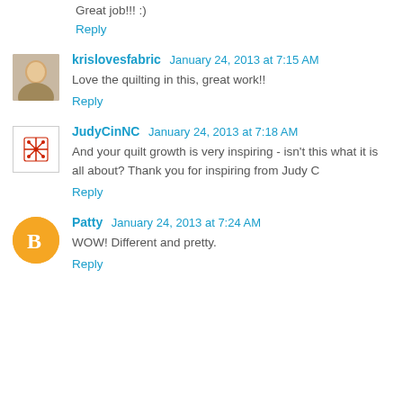Great job!!! :)
Reply
krislovesfabric  January 24, 2013 at 7:15 AM
Love the quilting in this, great work!!
Reply
JudyCinNC  January 24, 2013 at 7:18 AM
And your quilt growth is very inspiring - isn't this what it is all about? Thank you for inspiring from Judy C
Reply
Patty  January 24, 2013 at 7:24 AM
WOW! Different and pretty.
Reply